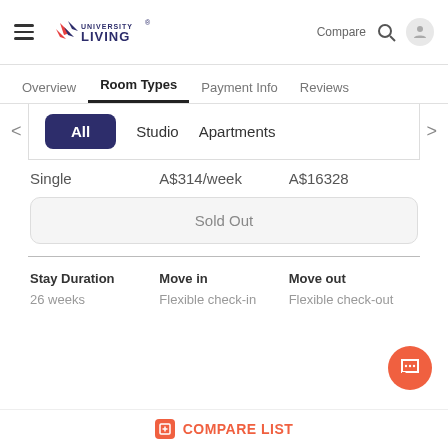University Living — Compare, Search, Profile
Overview  Room Types  Payment Info  Reviews
All  Studio  Apartments
Single  A$314/week  A$16328
Sold Out
| Stay Duration | Move in | Move out |
| --- | --- | --- |
| 26 weeks | Flexible check-in | Flexible check-out |
COMPARE LIST